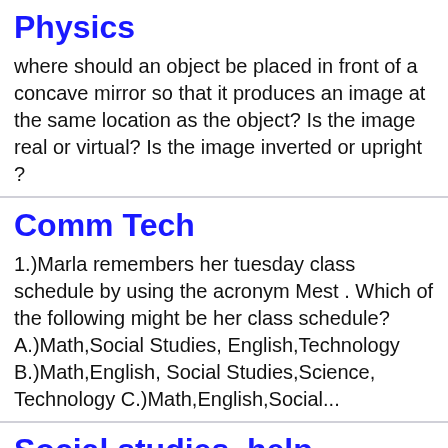Physics
where should an object be placed in front of a concave mirror so that it produces an image at the same location as the object? Is the image real or virtual? Is the image inverted or upright ?
Comm Tech
1.)Marla remembers her tuesday class schedule by using the acronym Mest . Which of the following might be her class schedule? A.)Math,Social Studies, English,Technology B.)Math,English, Social Studies,Science, Technology C.)Math,English,Social...
Social studies, help